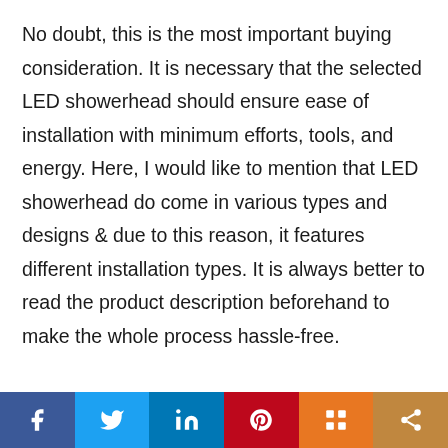No doubt, this is the most important buying consideration. It is necessary that the selected LED showerhead should ensure ease of installation with minimum efforts, tools, and energy. Here, I would like to mention that LED showerhead do come in various types and designs & due to this reason, it features different installation types. It is always better to read the product description beforehand to make the whole process hassle-free.
[Figure (infographic): Social media share bar with icons: Facebook (blue), Twitter (light blue), LinkedIn (dark blue), Pinterest (red), Mix (orange), Share (tan/orange)]